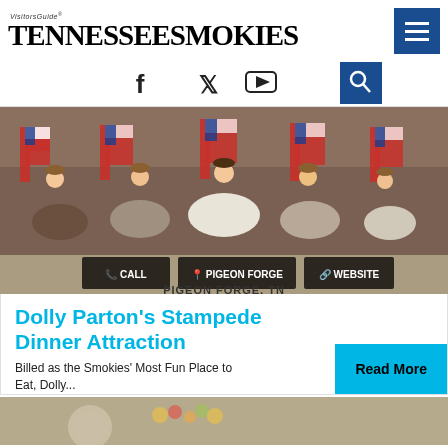Tennessee Smokies Visitors Guide
[Figure (screenshot): Website navigation bar with Tennessee Smokies Visitors Guide logo on the left and a hamburger menu icon on the right on a dark blue background]
[Figure (screenshot): Social media icons: Facebook, Twitter, YouTube and a search button]
[Figure (photo): Performers on horseback carrying American flags in patriotic costumes at Dolly Parton's Stampede Dinner Attraction show arena]
CALL | PIGEON FORGE | WEBSITE
PIGEON FORGE, TN
Dolly Parton's Stampede Dinner Attraction
Billed as the Smokies' Most Fun Place to Eat, Dolly...
[Figure (photo): Bottom strip showing a partial image of a food platter with fruits and a plate]